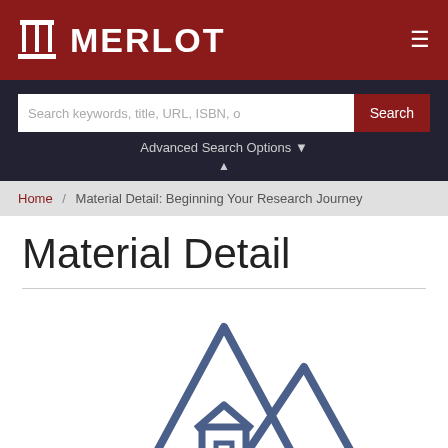MERLOT
Search keywords, title, URL, ISBN, o
Advanced Search Options
Home / Material Detail: Beginning Your Research Journey
Material Detail
[Figure (illustration): Mountain/landscape outline icon in dark blue, representing an educational material thumbnail]